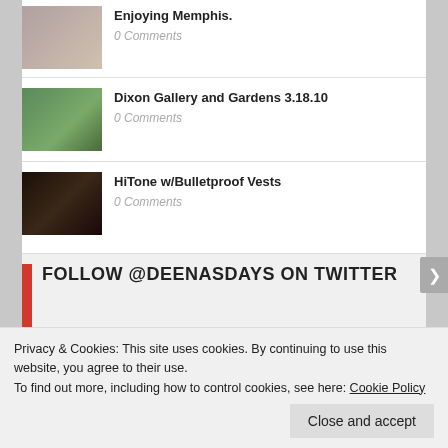Enjoying Memphis. 0 Comments
Dixon Gallery and Gardens 3.18.10 0 Comments
HiTone w/Bulletproof Vests 0 Comments
FOLLOW @DEENASDAYS ON TWITTER
Privacy & Cookies: This site uses cookies. By continuing to use this website, you agree to their use.
To find out more, including how to control cookies, see here: Cookie Policy